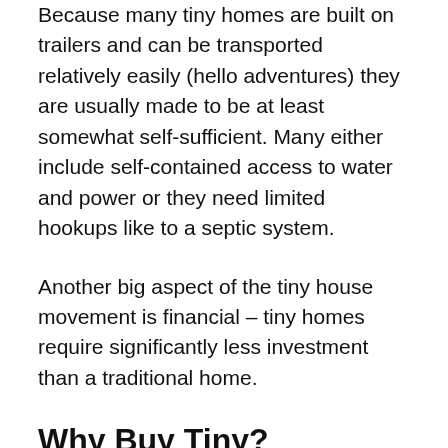Because many tiny homes are built on trailers and can be transported relatively easily (hello adventures) they are usually made to be at least somewhat self-sufficient. Many either include self-contained access to water and power or they need limited hookups like to a septic system.
Another big aspect of the tiny house movement is financial – tiny homes require significantly less investment than a traditional home.
Why Buy Tiny?
So why give up your comfortable life in a traditional sized home for the tiny life? Tiny life advocates cite different reasons for choosing this type of lifestyle. Freedom including the ability to more easily travel as well as financial freedom that comes with a huge